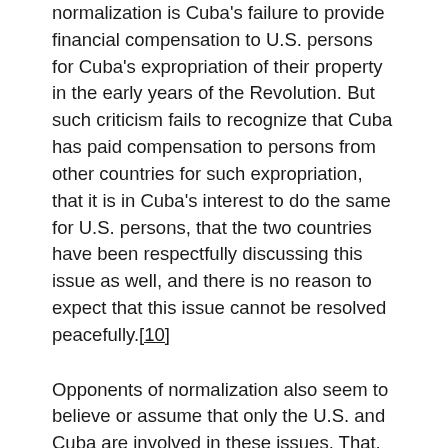normalization is Cuba's failure to provide financial compensation to U.S. persons for Cuba's expropriation of their property in the early years of the Revolution. But such criticism fails to recognize that Cuba has paid compensation to persons from other countries for such expropriation, that it is in Cuba's interest to do the same for U.S. persons, that the two countries have been respectfully discussing this issue as well, and there is no reason to expect that this issue cannot be resolved peacefully.[10]
Opponents of normalization also seem to believe or assume that only the U.S. and Cuba are involved in these issues. That, however, is not true. Perhaps precipitated by the December 2014 announcement that Cuba and the U.S. had agreed to seek normalization and reconciliation, other countries, especially the members of the European Union, have been accelerating their efforts to resolve differences with Cuba so that the U.S. will not beat them